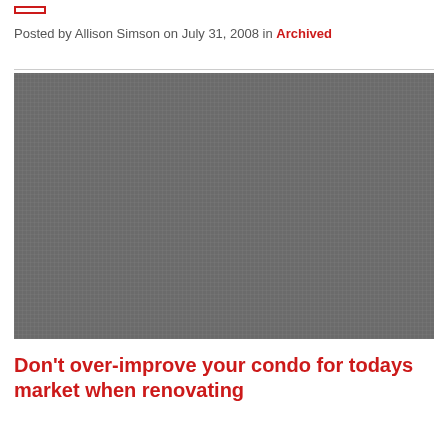Posted by Allison Simson on July 31, 2008 in Archived
[Figure (photo): Dark gray textured image, appears to be a photograph with a dark/charcoal tone]
Don't over-improve your condo for todays market when renovating